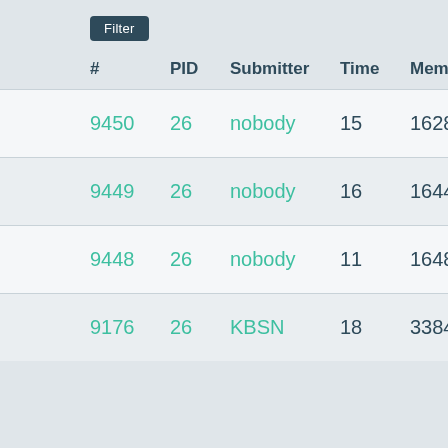Filter
| # | PID | Submitter | Time | Memory | Verdict |
| --- | --- | --- | --- | --- | --- |
| 9450 | 26 | nobody | 15 | 1628 | WA |
| 9449 | 26 | nobody | 16 | 1644 | WA |
| 9448 | 26 | nobody | 11 | 1648 | WA |
| 9176 | 26 | KBSN | 18 | 3384 | AC |